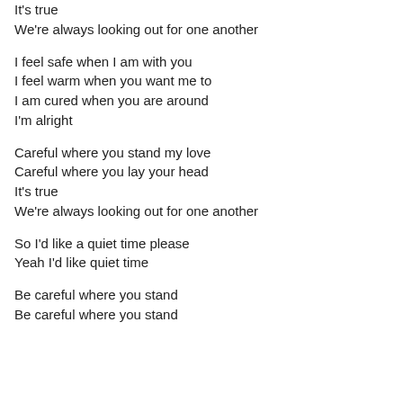It's true
We're always looking out for one another
I feel safe when I am with you
I feel warm when you want me to
I am cured when you are around
I'm alright
Careful where you stand my love
Careful where you lay your head
It's true
We're always looking out for one another
So I'd like a quiet time please
Yeah I'd like quiet time
Be careful where you stand
Be careful where you stand